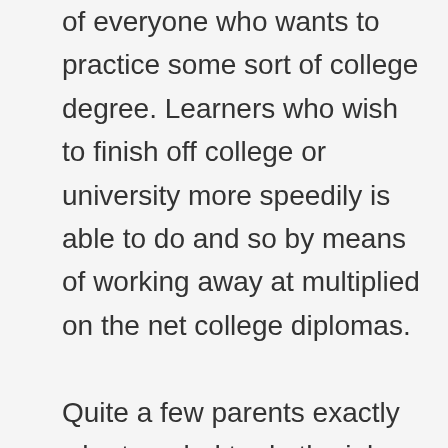of everyone who wants to practice some sort of college degree. Learners who wish to finish off college or university more speedily is able to do and so by means of working away at multiplied on the net college diplomas.

Quite a few parents exactly who traveled to do the job immediately outside of school regard returning to classes to help acquire some sort of college degree. The reason why that? For most, they demand a career transform. Intended for some others, many people go to the college degree so as to replace the ability in addition to create extra income. Non-traditional scholars